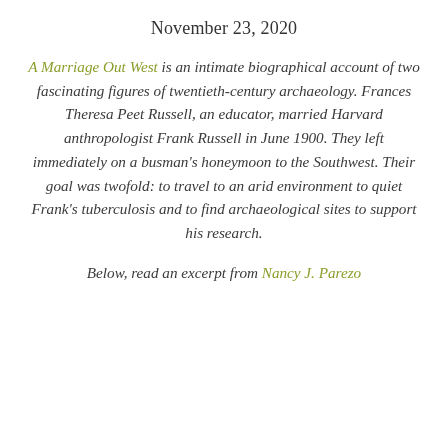November 23, 2020
A Marriage Out West is an intimate biographical account of two fascinating figures of twentieth-century archaeology. Frances Theresa Peet Russell, an educator, married Harvard anthropologist Frank Russell in June 1900. They left immediately on a busman's honeymoon to the Southwest. Their goal was twofold: to travel to an arid environment to quiet Frank's tuberculosis and to find archaeological sites to support his research.
Below, read an excerpt from Nancy J. Parezo